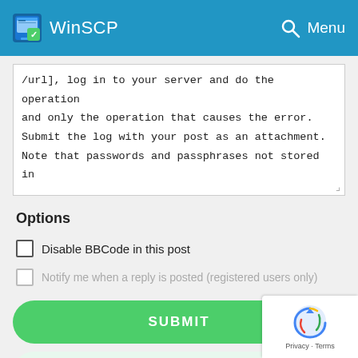WinSCP  Menu
/url], log in to your server and do the operation and only the operation that causes the error. Submit the log with your post as an attachment. Note that passwords and passphrases not stored in
Options
Disable BBCode in this post
Notify me when a reply is posted (registered users only)
SUBMIT
PREVIEW